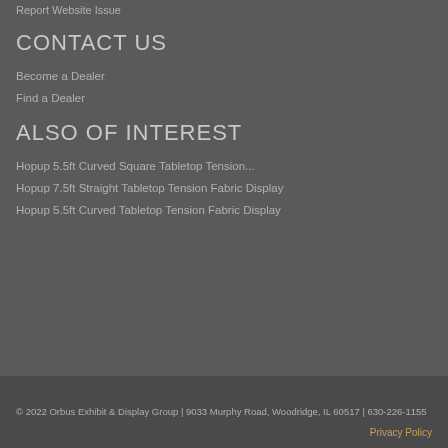Report Website Issue
CONTACT US
Become a Dealer
Find a Dealer
ALSO OF INTEREST
Hopup 5.5ft Curved Square Tabletop Tension...
Hopup 7.5ft Straight Tabletop Tension Fabric Display
Hopup 5.5ft Curved Tabletop Tension Fabric Display
© 2022 Orbus Exhibit & Display Group | 9033 Murphy Road, Woodridge, IL 60517 | 630-226-1155
Privacy Policy